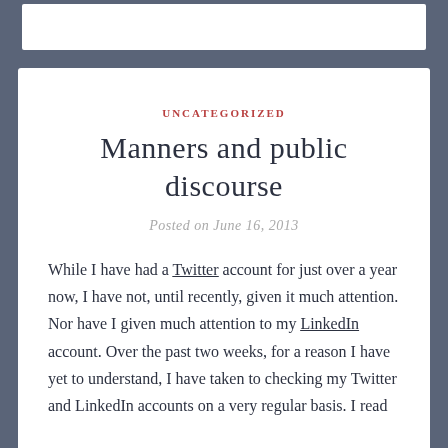UNCATEGORIZED
Manners and public discourse
Posted on June 16, 2013
While I have had a Twitter account for just over a year now, I have not, until recently, given it much attention. Nor have I given much attention to my LinkedIn account. Over the past two weeks, for a reason I have yet to understand, I have taken to checking my Twitter and LinkedIn accounts on a very regular basis. I read